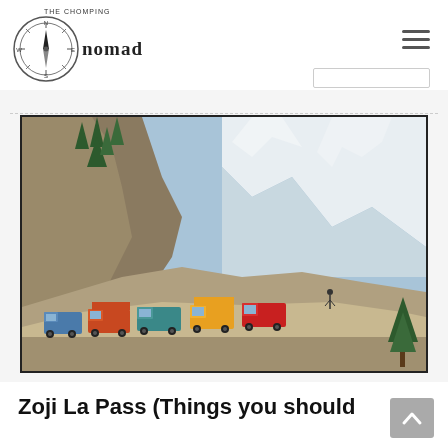The Chomping Nomad — website header with compass logo and hamburger menu
[Figure (photo): Mountain pass road (Zoji La Pass) with colorful trucks navigating a narrow rocky mountain road flanked by trees and snow-capped peaks in the background]
Zoji La Pass (Things you should